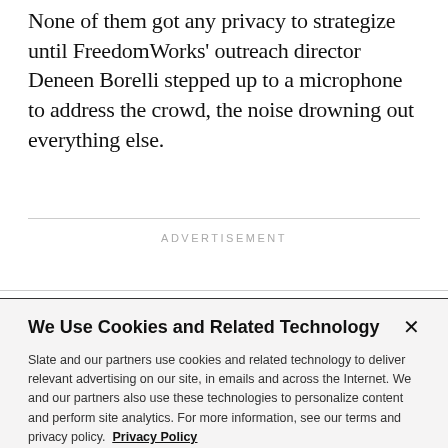None of them got any privacy to strategize until FreedomWorks' outreach director Deneen Borelli stepped up to a microphone to address the crowd, the noise drowning out everything else.
ADVERTISEMENT
We Use Cookies and Related Technology
Slate and our partners use cookies and related technology to deliver relevant advertising on our site, in emails and across the Internet. We and our partners also use these technologies to personalize content and perform site analytics. For more information, see our terms and privacy policy.  Privacy Policy
OK